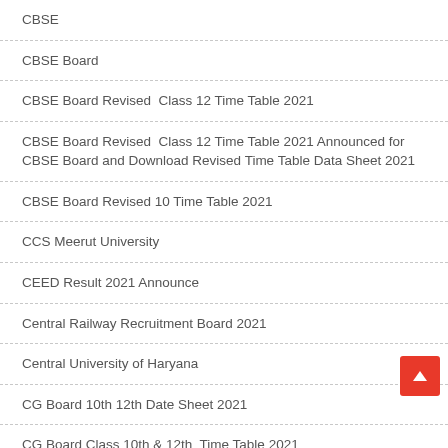CBSE
CBSE Board
CBSE Board Revised  Class 12 Time Table 2021
CBSE Board Revised  Class 12 Time Table 2021 Announced for CBSE Board and Download Revised Time Table Data Sheet 2021
CBSE Board Revised 10 Time Table 2021
CCS Meerut University
CEED Result 2021 Announce
Central Railway Recruitment Board 2021
Central University of Haryana
CG Board 10th 12th Date Sheet 2021
CG Board Class 10th & 12th  Time Table 2021